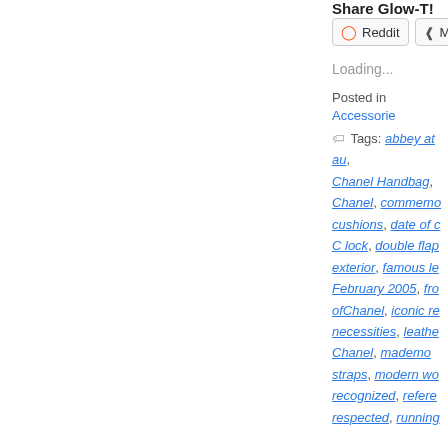Share Glow-T!
Loading...
Posted in Accessories
Tags: abbey at au, Chanel Handbag, Chanel, commemo, cushions, date of c, C lock, double flap, exterior, famous le, February 2005, fro, ofChanel, iconic re, necessities, leathe, Chanel, mademos, straps, modern wo, recognized, refere, respected, running